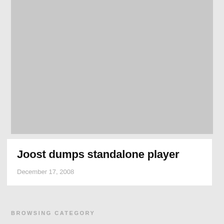[Figure (photo): Large gray placeholder image area at the top of the page]
Joost dumps standalone player
December 17, 2008
BROWSING CATEGORY